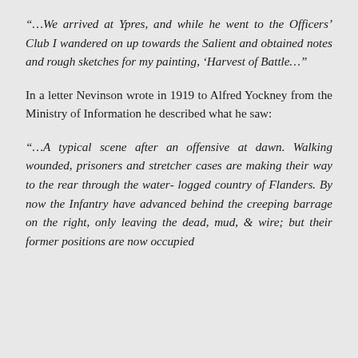“…We arrived at Ypres, and while he went to the Officers’ Club I wandered on up towards the Salient and obtained notes and rough sketches for my painting, ‘Harvest of Battle…”
In a letter Nevinson wrote in 1919 to Alfred Yockney from the Ministry of Information he described what he saw:
“…A typical scene after an offensive at dawn. Walking wounded, prisoners and stretcher cases are making their way to the rear through the water- logged country of Flanders. By now the Infantry have advanced behind the creeping barrage on the right, only leaving the dead, mud, & wire; but their former positions are now occupied